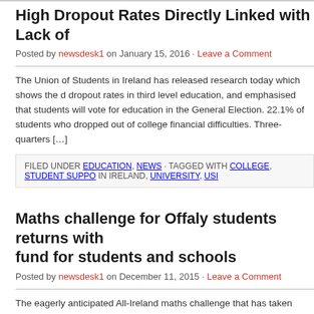High Dropout Rates Directly Linked with Lack of
Posted by newsdesk1 on January 15, 2016 · Leave a Comment
The Union of Students in Ireland has released research today which shows the d dropout rates in third level education, and emphasised that students will vote for education in the General Election. 22.1% of students who dropped out of college financial difficulties. Three-quarters […]
FILED UNDER EDUCATION, NEWS · TAGGED WITH COLLEGE, STUDENT SUPPO IN IRELAND, UNIVERSITY, USI
Maths challenge for Offaly students returns with fund for students and schools
Posted by newsdesk1 on December 11, 2015 · Leave a Comment
The eagerly anticipated All-Ireland maths challenge that has taken Ireland by sto back, with a prize fund of €20,000 for students and schools. Registration for stud Offaly is now open for LearnStorm Ireland. Originally called MATHletes, the chall technology entrepreneur Sean […]